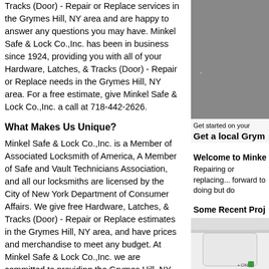Tracks (Door) - Repair or Replace services in the Grymes Hill, NY area and are happy to answer any questions you may have. Minkel Safe & Lock Co.,Inc. has been in business since 1924, providing you with all of your Hardware, Latches, & Tracks (Door) - Repair or Replace needs in the Grymes Hill, NY area. For a free estimate, give Minkel Safe & Lock Co.,Inc. a call at 718-442-2626.
What Makes Us Unique?
Minkel Safe & Lock Co.,Inc. is a Member of Associated Locksmith of America, A Member of Safe and Vault Technicians Association, and all our locksmiths are licensed by the City of New York Department of Consumer Affairs. We give free Hardware, Latches, & Tracks (Door) - Repair or Replace estimates in the Grymes Hill, NY area, and have prices and merchandise to meet any budget. At Minkel Safe & Lock Co.,Inc. we are committed to providing the Grymes Hill, NY area with quality products and outstanding workmanship when it comes to your Hardware, Latches, & Tracks (Door) - Repair or Replace services. For a free estimate on your Hardware, Latches, & Tracks (Door) - Repair or Replace service in the Grymes Hill, NY area, give Minkel Safe & Lock Co.,Inc. a call at 718-442-2626.
Services
[Figure (photo): Gray background photo (top right), partially visible, with overlay text 'Get started on your' and 'Get a local Grym']
Welcome to Minke
Repairing or replacing... forward to doing but do
Some Recent Proj
[Figure (photo): Close-up photo of a device showing green indicator light and 'ON' label]